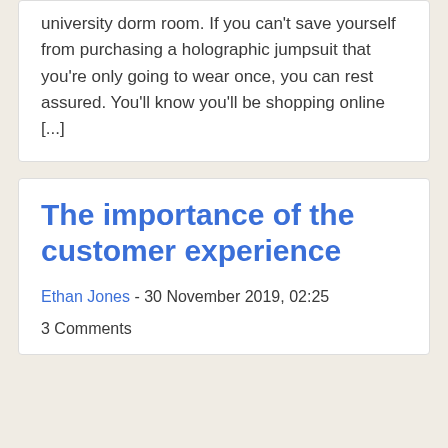university dorm room. If you can't save yourself from purchasing a holographic jumpsuit that you're only going to wear once, you can rest assured. You'll know you'll be shopping online [...]
The importance of the customer experience
Ethan Jones - 30 November 2019, 02:25
3 Comments